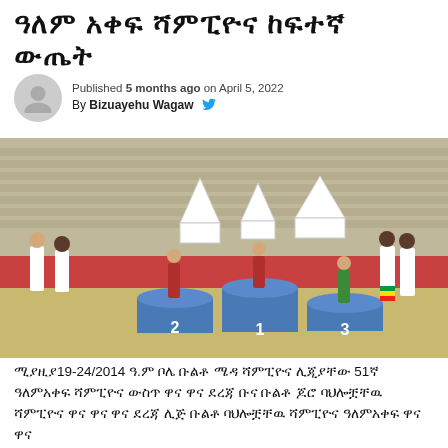ዓለም አቀፍ ሻምፒዮና ከፍተኛ ውጤት
Published 5 months ago on April 5, 2022
By Bizuayehu Wagaw
[Figure (photo): Athletes standing on a podium numbered 1, 2, 3 at an outdoor stadium during an awards ceremony. Officials in white and women in traditional Ethiopian dress are present. White tents and stadium seating are visible in the background.]
ሚያዚያ19-24/2014 ዓ.ም ቦሌ ቡልቶ ሜዳ ሻምፒዮና ሊጂያቸው 51ኛ ዓለምአቀፍ ሻምፒዮና ውስጥ ዋና ዋና ደረጃ ቡና ቡልቶ ጆሮ ባህሎቿቸዉ ሻምፒዮና ዋና ዋና ዋና ደረጃ ሊጅ ቡልቶ ባህሎቿቸዉ ሻምፒዮና ዓለምአቀፍ ዋና ዋና